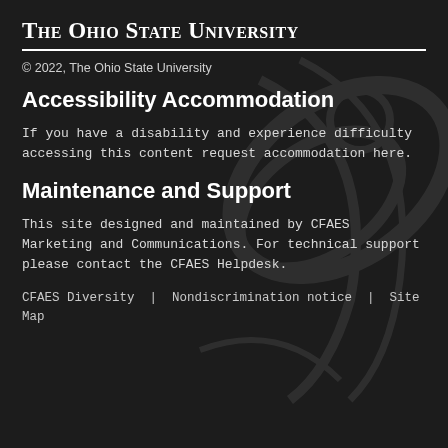The Ohio State University
© 2022, The Ohio State University
Accessibility Accommodation
If you have a disability and experience difficulty accessing this content request accommodation here.
Maintenance and Support
This site designed and maintained by CFAES Marketing and Communications. For technical support please contact the CFAES Helpdesk.
CFAES Diversity  |  Nondiscrimination notice  |  Site Map